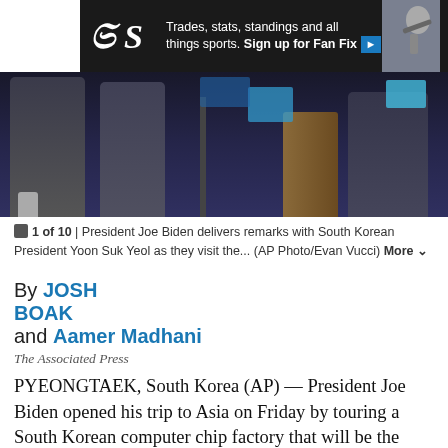[Figure (photo): Advertisement banner with Seattle Times logo and sports imagery, dark background with text about trades, stats, standings and Fan Fix signup]
[Figure (photo): Photo of President Joe Biden at podium with South Korean President Yoon Suk Yeol, dark blue background with figures visible]
1 of 10 | President Joe Biden delivers remarks with South Korean President Yoon Suk Yeol as they visit the... (AP Photo/Evan Vucci) More
By JOSH BOAK and Aamer Madhani
The Associated Press
PYEONGTAEK, South Korea (AP) — President Joe Biden opened his trip to Asia on Friday by touring a South Korean computer chip factory that will be the model for a plant in Texas, holding it out as an illustration of how deeper ties with the Indo Pacific